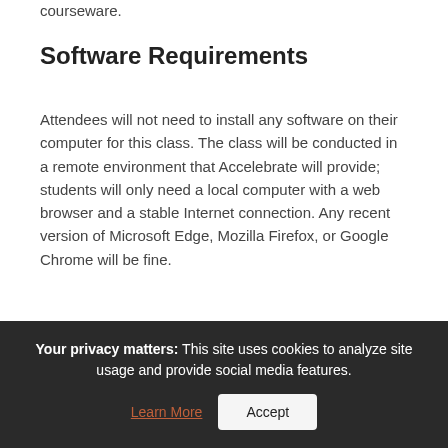courseware.
Software Requirements
Attendees will not need to install any software on their computer for this class. The class will be conducted in a remote environment that Accelebrate will provide; students will only need a local computer with a web browser and a stable Internet connection. Any recent version of Microsoft Edge, Mozilla Firefox, or Google Chrome will be fine.
Download
REQUEST PRICING
Your privacy matters: This site uses cookies to analyze site usage and provide social media features. Learn More  Accept